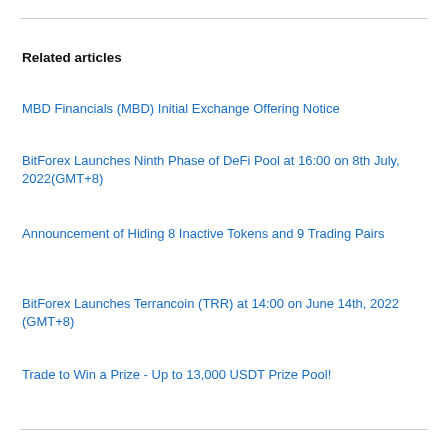Related articles
MBD Financials (MBD) Initial Exchange Offering Notice
BitForex Launches Ninth Phase of DeFi Pool at 16:00 on 8th July, 2022(GMT+8)
Announcement of Hiding 8 Inactive Tokens and 9 Trading Pairs
BitForex Launches Terrancoin (TRR) at 14:00 on June 14th, 2022 (GMT+8)
Trade to Win a Prize - Up to 13,000 USDT Prize Pool!